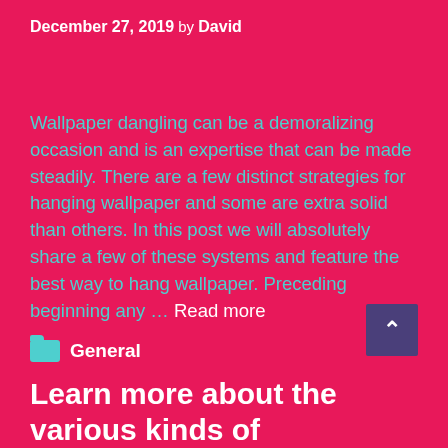December 27, 2019 by David
Wallpaper dangling can be a demoralizing occasion and is an expertise that can be made steadily. There are a few distinct strategies for hanging wallpaper and some are extra solid than others. In this post we will absolutely share a few of these systems and feature the best way to hang wallpaper. Preceding beginning any … Read more
General
Learn more about the various kinds of